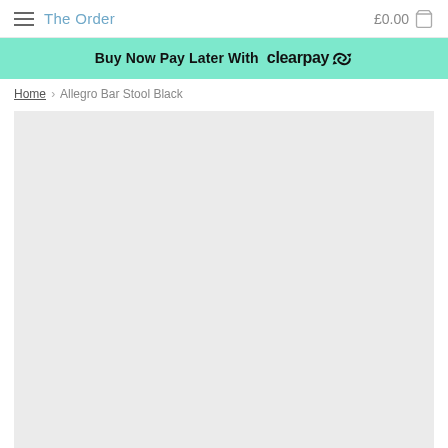The Order  £0.00
Buy Now Pay Later With clearpay
Home › Allegro Bar Stool Black
[Figure (photo): Light grey product image placeholder area for Allegro Bar Stool Black]